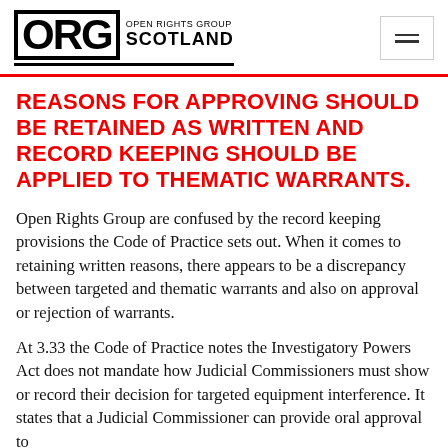ORG OPEN RIGHTS GROUP SCOTLAND
REASONS FOR APPROVING SHOULD BE RETAINED AS WRITTEN AND RECORD KEEPING SHOULD BE APPLIED TO THEMATIC WARRANTS.
Open Rights Group are confused by the record keeping provisions the Code of Practice sets out. When it comes to retaining written reasons, there appears to be a discrepancy between targeted and thematic warrants and also on approval or rejection of warrants.
At 3.33 the Code of Practice notes the Investigatory Powers Act does not mandate how Judicial Commissioners must show or record their decision for targeted equipment interference. It states that a Judicial Commissioner can provide oral approval to